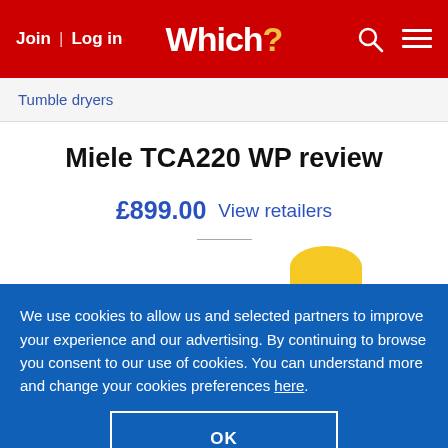Join | Log in  Which?
Tumble dryers
Miele TCA220 WP review
£899.00 View retailers
We use cookies to allow us and selected partners to improve your experience and our advertising. By continuing to browse you consent to our use of cookies. You can understand more and change your cookies preferences here.
OK